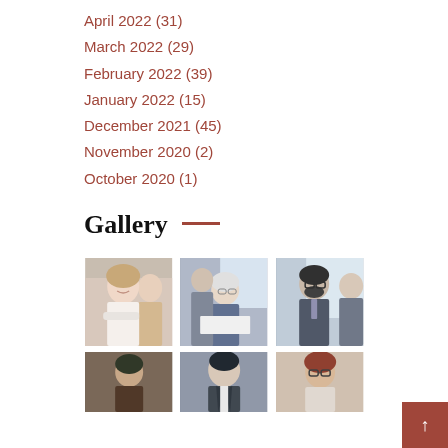April 2022 (31)
March 2022 (29)
February 2022 (39)
January 2022 (15)
December 2021 (45)
November 2020 (2)
October 2020 (1)
Gallery —
[Figure (photo): Six business/office photos in a 3-column grid gallery. Row 1: smiling woman with colleagues, two men reviewing documents at table, man with glasses in office. Row 2: person at desk, man in suit, person with glasses.]